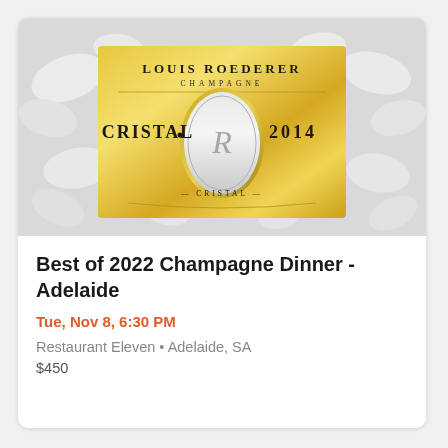[Figure (photo): Louis Roederer Champagne Cristal 2014 bottle label on a white floral/petal background. Gold label reads LOUIS ROEDERER CHAMPAGNE at top, CRISTAL in large letters on the left, 2014 on the right, with an ornate oval medallion in the center bearing the letter R and CRISTAL text at the bottom.]
Best of 2022 Champagne Dinner - Adelaide
Tue, Nov 8, 6:30 PM
Restaurant Eleven • Adelaide, SA
$450